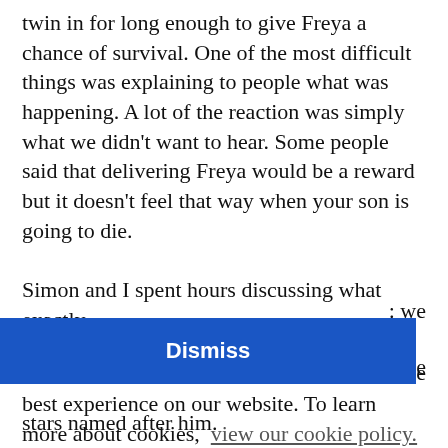twin in for long enough to give Freya a chance of survival. One of the most difficult things was explaining to people what was happening. A lot of the reaction was simply what we didn't want to hear. Some people said that delivering Freya would be a reward but it doesn't feel that way when your son is going to die.
Simon and I spent hours discussing what exactly
We use cookies to ensure that you have the best experience on our website. To learn more about cookies, view our cookie policy.
stars named after him.